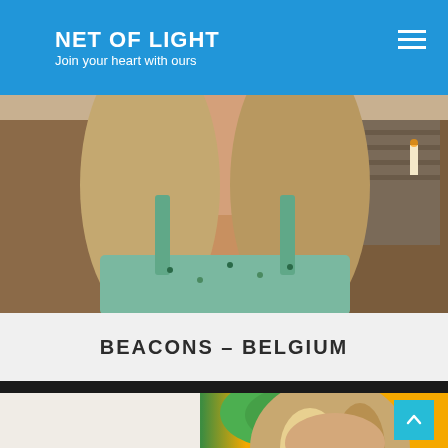NET OF LIGHT — Join your heart with ours
[Figure (photo): Woman with blonde hair wearing a blue and green floral sleeveless dress, seated indoors near a fireplace]
BEACONS – BELGIUM
[Figure (photo): Woman with blonde highlighted hair in front of a yellow background with green leaf, partial view]